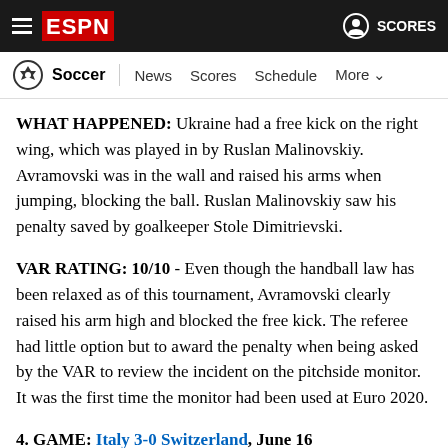ESPN - Soccer | News Scores Schedule More
WHAT HAPPENED: Ukraine had a free kick on the right wing, which was played in by Ruslan Malinovskiy. Avramovski was in the wall and raised his arms when jumping, blocking the ball. Ruslan Malinovskiy saw his penalty saved by goalkeeper Stole Dimitrievski.
VAR RATING: 10/10 - Even though the handball law has been relaxed as of this tournament, Avramovski clearly raised his arm high and blocked the free kick. The referee had little option but to award the penalty when being asked by the VAR to review the incident on the pitchside monitor. It was the first time the monitor had been used at Euro 2020.
4. GAME: Italy 3-0 Switzerland, June 16
Referee: Sergei Karasev (RUS)